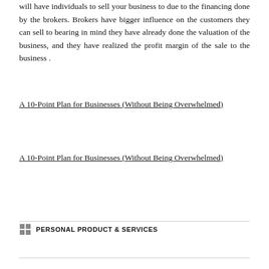will have individuals to sell your business to due to the financing done by the brokers. Brokers have bigger influence on the customers they can sell to bearing in mind they have already done the valuation of the business, and they have realized the profit margin of the sale to the business .
A 10-Point Plan for Businesses (Without Being Overwhelmed)
A 10-Point Plan for Businesses (Without Being Overwhelmed)
PERSONAL PRODUCT & SERVICES